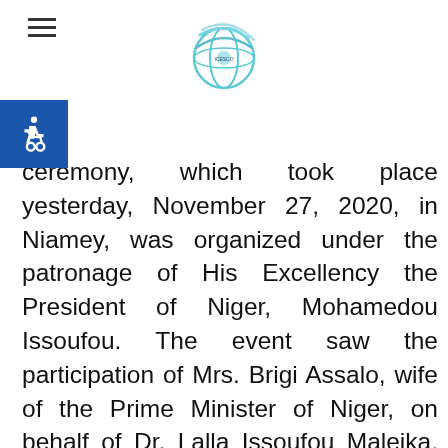[ICESCO logo and navigation]
ceremony, which took place yesterday, November 27, 2020, in Niamey, was organized under the patronage of His Excellency the President of Niger, Mohamedou Issoufou. The event saw the participation of Mrs. Brigi Assalo, wife of the Prime Minister of Niger, on behalf of Dr. Lalla Issoufou Maleika, the First Lady of Niger; Dr. Salim M. Al-Malik, Director-General (DG) of ICESCO; and Minister of Primary Education, Literacy, Promotion of National Languages and Civic Education, President of the Nigerien National Commission, Dr. Daouda Mamadou Marthé, and several Niger government ministers, representatives of the